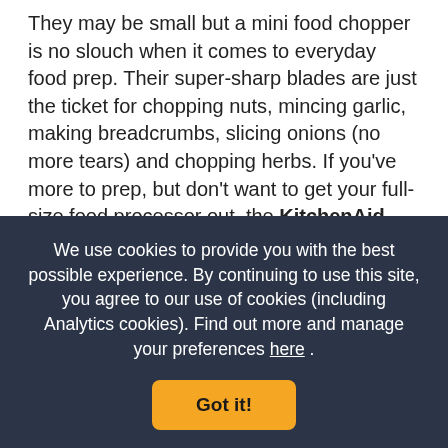They may be small but a mini food chopper is no slouch when it comes to everyday food prep. Their super-sharp blades are just the ticket for chopping nuts, mincing garlic, making breadcrumbs, slicing onions (no more tears) and chopping herbs. If you've more to prep, but don't want to get your full-size food processor out, the KitchenAid mini chopper is just the thing. With two speeds and a powerful performance, this model makes light work of mayo, hollandaise and hummus. And with a consistently top-rated KitchenAid mini food processor in your kitchen
We use cookies to provide you with the best possible experience. By continuing to use this site, you agree to our use of cookies (including Analytics cookies). Find out more and manage your preferences here .
Got it!